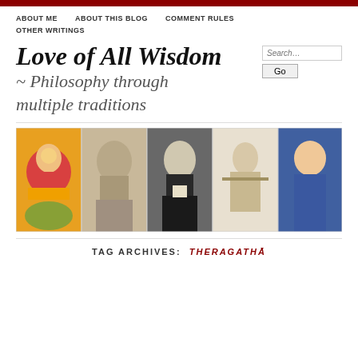ABOUT ME   ABOUT THIS BLOG   COMMENT RULES   OTHER WRITINGS
Love of All Wisdom
~ Philosophy through multiple traditions
[Figure (photo): Banner showing five images: a colorful Buddhist thangka painting, a marble bust of Aristotle, a black-and-white portrait of Hegel, a Chinese ink drawing of Confucius, and a photo of a modern woman in a blue jacket.]
TAG ARCHIVES: THERAGATHĀ